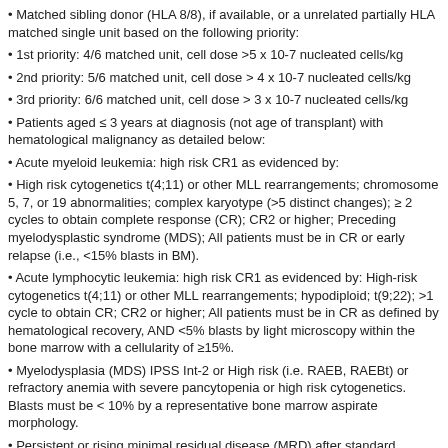Matched sibling donor (HLA 8/8), if available, or a unrelated partially HLA matched single unit based on the following priority:
1st priority: 4/6 matched unit, cell dose >5 x 10-7 nucleated cells/kg
2nd priority: 5/6 matched unit, cell dose > 4 x 10-7 nucleated cells/kg
3rd priority: 6/6 matched unit, cell dose > 3 x 10-7 nucleated cells/kg
Patients aged ≤ 3 years at diagnosis (not age of transplant) with hematological malignancy as detailed below:
Acute myeloid leukemia: high risk CR1 as evidenced by:
High risk cytogenetics t(4;11) or other MLL rearrangements; chromosome 5, 7, or 19 abnormalities; complex karyotype (>5 distinct changes); ≥ 2 cycles to obtain complete response (CR); CR2 or higher; Preceding myelodysplastic syndrome (MDS); All patients must be in CR or early relapse (i.e., <15% blasts in BM).
Acute lymphocytic leukemia: high risk CR1 as evidenced by: High-risk cytogenetics t(4;11) or other MLL rearrangements; hypodiploid; t(9;22); >1 cycle to obtain CR; CR2 or higher; All patients must be in CR as defined by hematological recovery, AND <5% blasts by light microscopy within the bone marrow with a cellularity of ≥15%.
Myelodysplasia (MDS) IPSS Int-2 or High risk (i.e. RAEB, RAEBt) or refractory anemia with severe pancytopenia or high risk cytogenetics. Blasts must be < 10% by a representative bone marrow aspirate morphology.
Persistent or rising minimal residual disease (MRD) after standard chemotherapy regimens: Patients with evidence of minimal residual disease at the completion of the conversion of rising MRD, while others on MRD will be defined by with